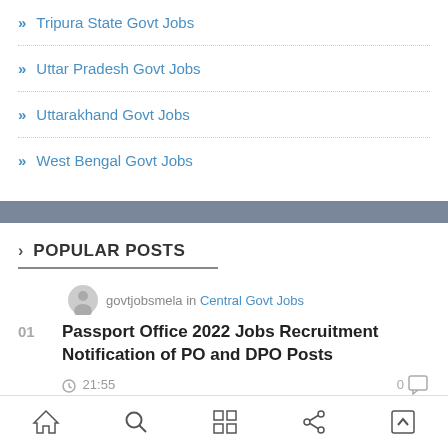Tripura State Govt Jobs
Uttar Pradesh Govt Jobs
Uttarakhand Govt Jobs
West Bengal Govt Jobs
POPULAR POSTS
govtjobsmela in Central Govt Jobs
01 Passport Office 2022 Jobs Recruitment Notification of PO and DPO Posts
21:55
Home Search Grid Share Top